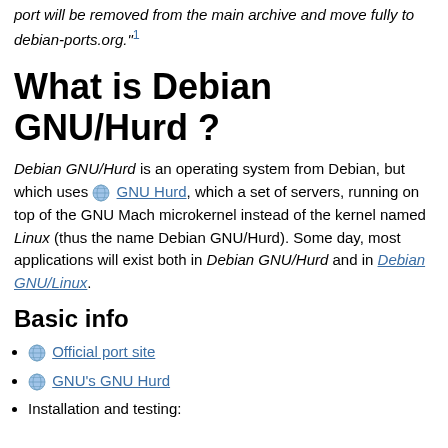port will be removed from the main archive and move fully to debian-ports.org."1
What is Debian GNU/Hurd ?
Debian GNU/Hurd is an operating system from Debian, but which uses GNU Hurd, which a set of servers, running on top of the GNU Mach microkernel instead of the kernel named Linux (thus the name Debian GNU/Hurd). Some day, most applications will exist both in Debian GNU/Hurd and in Debian GNU/Linux.
Basic info
Official port site
GNU's GNU Hurd
Installation and testing: